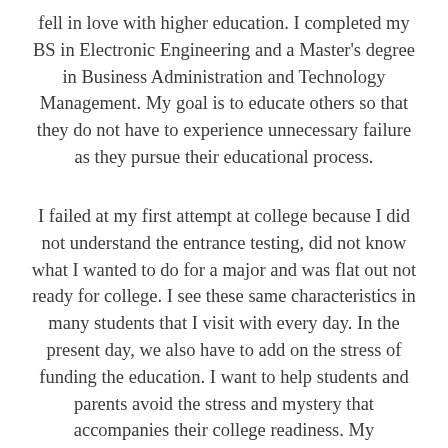fell in love with higher education.  I completed my BS in Electronic Engineering and a Master's degree in Business Administration and Technology Management.  My goal is to educate others so that they do not have to experience unnecessary failure as they pursue their educational process.
I failed at my first attempt at college because I did not understand the entrance testing, did not know what I wanted to do for a major and was flat out not ready for college.  I see these same characteristics in many students that I visit with every day. In the present day, we also have to add on the stress of funding the education.  I want to help students and parents avoid the stress and mystery that accompanies their college readiness.  My background as an Engineer is integrated into our college consulting business and services. Over the past 10+ years, I assisted over 3500 families through all steps of the college process.